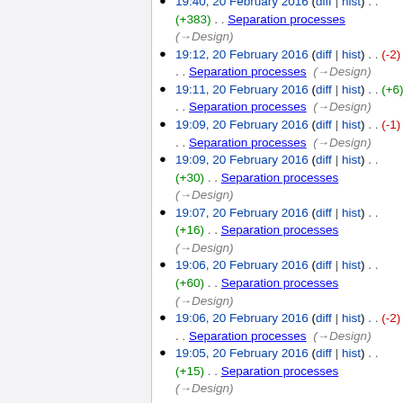19:40, 20 February 2016 (diff | hist) . . (+383) . . Separation processes (→Design)
19:12, 20 February 2016 (diff | hist) . . (-2) . . Separation processes (→Design)
19:11, 20 February 2016 (diff | hist) . . (+6) . . Separation processes (→Design)
19:09, 20 February 2016 (diff | hist) . . (-1) . . Separation processes (→Design)
19:09, 20 February 2016 (diff | hist) . . (+30) . . Separation processes (→Design)
19:07, 20 February 2016 (diff | hist) . . (+16) . . Separation processes (→Design)
19:06, 20 February 2016 (diff | hist) . . (+60) . . Separation processes (→Design)
19:06, 20 February 2016 (diff | hist) . . (-2) . . Separation processes (→Design)
19:05, 20 February 2016 (diff | hist) . . (+15) . . Separation processes (→Design)